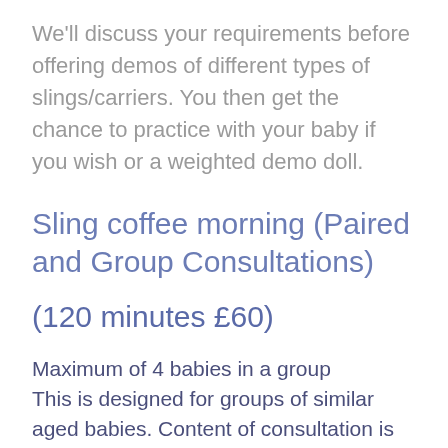We'll discuss your requirements before offering demos of different types of slings/carriers. You then get the chance to practice with your baby if you wish or a weighted demo doll.
Sling coffee morning (Paired and Group Consultations)
(120 minutes £60)
Maximum of 4 babies in a group
This is designed for groups of similar aged babies. Content of consultation is usually focused on one topic or carry and remains as close to a one-to one consultation as possible